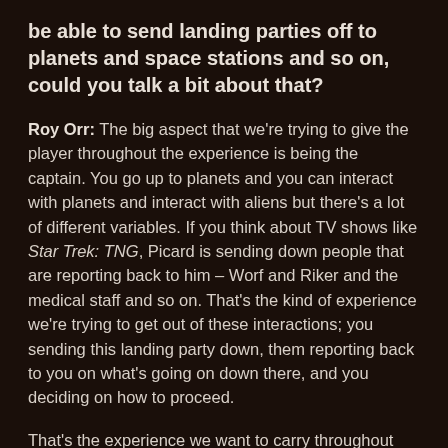be able to send landing parties off to planets and space stations and so on, could you talk a bit about that?
Roy Orr: The big aspect that we're trying to give the player throughout the experience is being the captain. You go up to planets and you can interact with planets and interact with aliens but there's a lot of different variables. If you think about TV shows like Star Trek: TNG, Picard is sending down people that are reporting back to him – Worf and Riker and the medical staff and so on. That's the kind of experience we're trying to get out of these interactions; you sending this landing party down, them reporting back to you on what's going on down there, and you deciding on how to proceed.
That's the experience we want to carry throughout